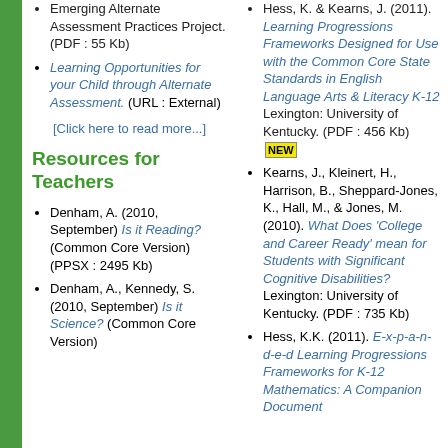Emerging Alternate Assessment Practices Project. (PDF : 55 Kb)
Learning Opportunities for your Child through Alternate Assessment. (URL : External)
[Click here to read more...]
Resources for Teachers
Denham, A. (2010, September) Is it Reading? (Common Core Version) (PPSX : 2495 Kb)
Denham, A., Kennedy, S. (2010, September) Is it Science? (Common Core Version)
Hess, K. & Kearns, J. (2011). Learning Progressions Frameworks Designed for Use with the Common Core State Standards in English Language Arts & Literacy K-12 Lexington: University of Kentucky. (PDF : 456 Kb) NEW
Kearns, J., Kleinert, H., Harrison, B., Sheppard-Jones, K., Hall, M., & Jones, M. (2010). What Does 'College and Career Ready' mean for Students with Significant Cognitive Disabilities? Lexington: University of Kentucky. (PDF : 735 Kb)
Hess, K.K. (2011). E-x-p-a-n-d-e-d Learning Progressions Frameworks for K-12 Mathematics: A Companion Document